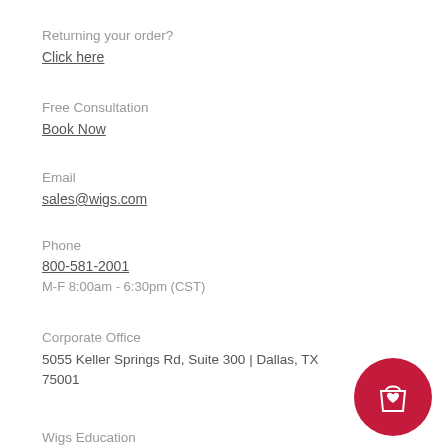Returning your order?
Click here
Free Consultation
Book Now
Email
sales@wigs.com
Phone
800-581-2001
M-F 8:00am - 6:30pm (CST)
Corporate Office
5055 Keller Springs Rd, Suite 300 | Dallas, TX 75001
Wigs Education
[Figure (illustration): Red circular shopping bag button with heart icon]